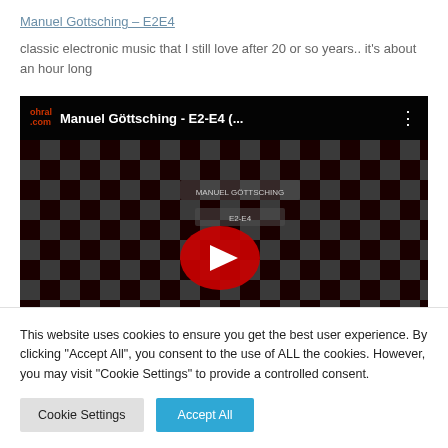Manuel Gottsching – E2E4
classic electronic music that I still love after 20 or so years.. it's about an hour long
[Figure (screenshot): YouTube video thumbnail for Manuel Göttsching - E2-E4 showing a checkered dark pattern with a red play button, and the ohral.com logo in the top-left corner of the video player bar.]
This website uses cookies to ensure you get the best user experience. By clicking "Accept All", you consent to the use of ALL the cookies. However, you may visit "Cookie Settings" to provide a controlled consent.